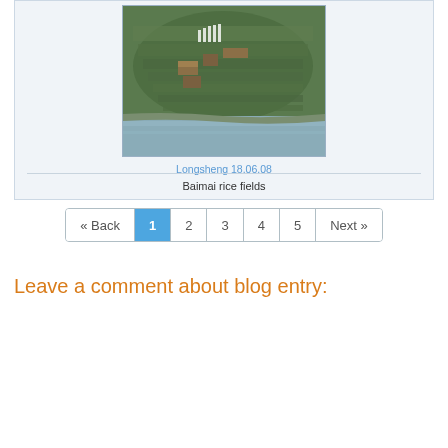[Figure (photo): Aerial photograph of Baimai rice terraces and village buildings on hillside with water visible in foreground, taken in Longsheng on 18.06.08]
Longsheng 18.06.08
Baimai rice fields
« Back  1  2  3  4  5  Next »
Leave a comment about blog entry: